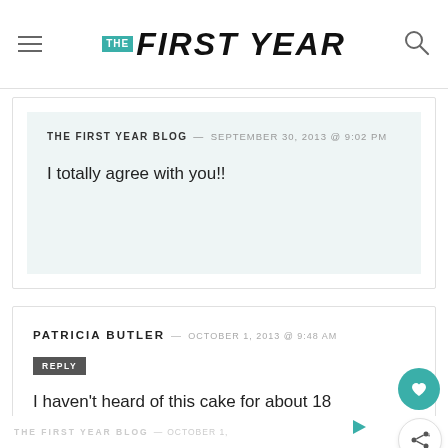THE FIRST YEAR
THE FIRST YEAR BLOG — SEPTEMBER 30, 2013 @ 9:02 PM
I totally agree with you!!
PATRICIA BUTLER — OCTOBER 1, 2013 @ 9:48 AM
REPLY
I haven't heard of this cake for about 18 years. Thanks for the memory. It still looks great.
THE FIRST YEAR BLOG — OCTOBER 1,